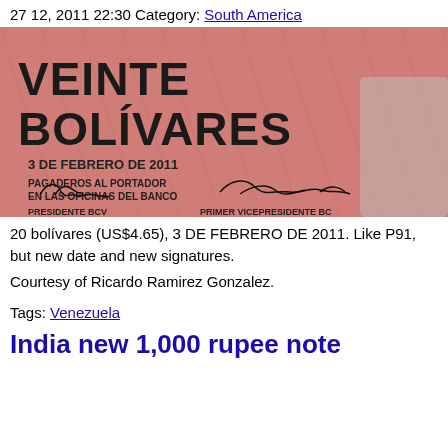27 12, 2011 22:30 Category: South America
[Figure (photo): Photograph of a Venezuelan 20 bolívares banknote dated 3 DE FEBRERO DE 2011, showing text 'VEINTE BOLÍVARES', 'PAGADEROS AL PORTADOR EN LAS OFICINAS DEL BANCO', with two signatures labeled 'PRESIDENTE BCV' and 'PRIMER VICEPRESIDENTE BCV'.]
20 bolívares (US$4.65), 3 DE FEBRERO DE 2011. Like P91, but new date and new signatures.
Courtesy of Ricardo Ramirez Gonzalez.
Tags: Venezuela
India new 1,000 rupee note